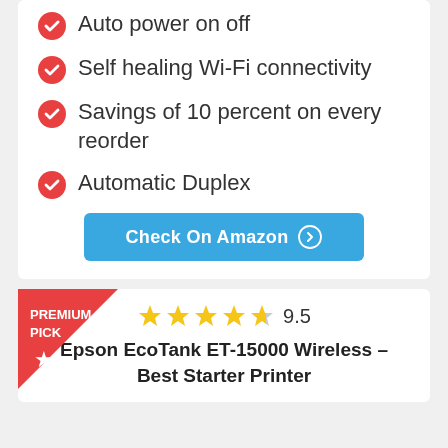Auto power on off
Self healing Wi-Fi connectivity
Savings of 10 percent on every reorder
Automatic Duplex
Check On Amazon
PREMIUM PICK
9.5
Epson EcoTank ET-15000 Wireless – Best Starter Printer